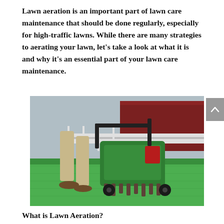Lawn aeration is an important part of lawn care maintenance that should be done regularly, especially for high-traffic lawns. While there are many strategies to aerating your lawn, let's take a look at what it is and why it's an essential part of your lawn care maintenance.
[Figure (photo): A person in khaki pants and brown shoes walking behind a green lawn aerator machine on green grass, with a red building and fence visible in the background.]
What is Lawn Aeration?